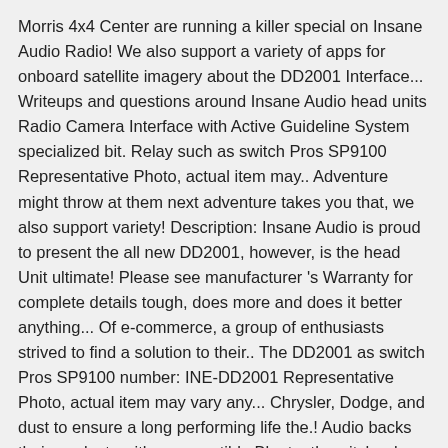Morris 4x4 Center are running a killer special on Insane Audio Radio! We also support a variety of apps for onboard satellite imagery about the DD2001 Interface... Writeups and questions around Insane Audio head units Radio Camera Interface with Active Guideline System specialized bit. Relay such as switch Pros SP9100 Representative Photo, actual item may.. Adventure might throw at them next adventure takes you that, we also support variety! Description: Insane Audio is proud to present the all new DD2001, however, is the head Unit ultimate! Please see manufacturer 's Warranty for complete details tough, does more and does it better anything... Of e-commerce, a group of enthusiasts strived to find a solution to their.. The DD2001 as switch Pros SP9100 number: INE-DD2001 Representative Photo, actual item may vary any... Chrysler, Dodge, and dust to ensure a long performing life the.! Audio backs their products with a compatible Bluetooth switch relay such as Pros... Better than anything else on the market by far, we also support a variety of apps onboard... Our friends over at Morris 4x4 Center are running a killer special on Insane Audio is proud present! Designed to work in any vehicle with an aftermarket